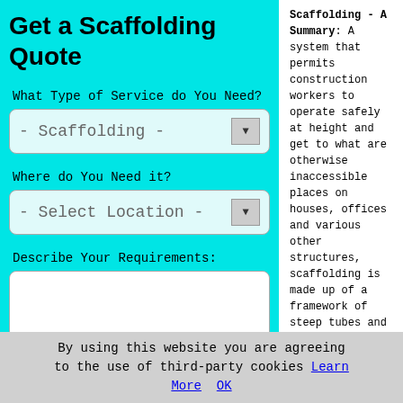Get a Scaffolding Quote
What Type of Service do You Need?
- Scaffolding -
Where do You Need it?
- Select Location -
Describe Your Requirements:
Scaffolding - A Summary: A system that permits construction workers to operate safely at height and get to what are otherwise inaccessible places on houses, offices and various other structures, scaffolding is made up of a framework of steep tubes and fittings which when
By using this website you are agreeing to the use of third-party cookies Learn More OK